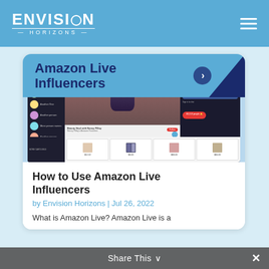ENVISION HORIZONS
[Figure (screenshot): Screenshot of Amazon Live influencer stream showing a woman presenting products, with chat sidebar on the right, product listings at the bottom, and 'Amazon Live Influencers' banner below the video.]
How to Use Amazon Live Influencers
by Envision Horizons | Jul 26, 2022
What is Amazon Live? Amazon Live is a
Share This